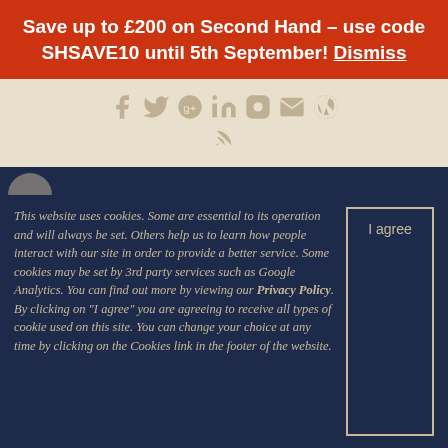Save up to £200 on Second Hand - use code SHSAVE10 until 5th September! Dismiss
[Figure (screenshot): Social media icons row (Facebook, Twitter, Google+, LinkedIn, and others) in tan/beige color on cream background, with an RSS feed icon below]
This website uses cookies. Some are essential to its operation and will always be set. Others help us to learn how people interact with our site in order to provide a better service. Some cookies may be set by 3rd party services such as Google Analytics. You can find out more by viewing our Privacy Policy. By clicking on "I agree" you are agreeing to receive all types of cookie used on this site. You can change your choice at any time by clicking on the Cookies link in the footer of the website.